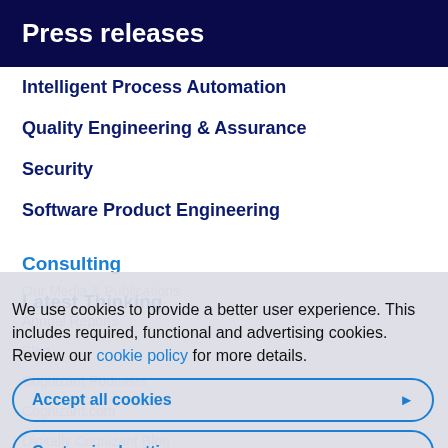Press releases
Intelligent Process Automation
Quality Engineering & Assurance
Security
Software Product Engineering
Consulting
Latest Thinking
Our Media & Publications
Annual Reports
Blog
Cognizant Podcasts
Cognizant.com
Digitally Cognizant Blog
Infographics
Perspectives
We use cookies to provide a better user experience. This includes required, functional and advertising cookies. Review our cookie policy for more details.
Accept all cookies
Customized settings